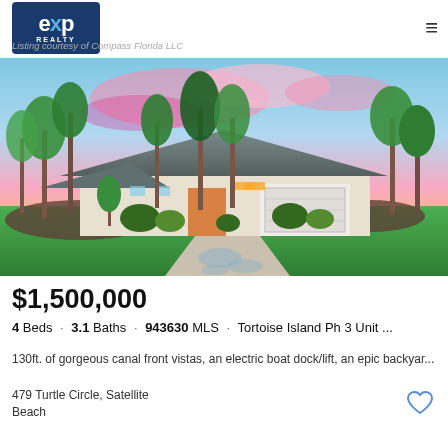eXp Realty
Listing courtesy of Compass Florida LLC
[Figure (photo): Exterior photo of a luxury single-story home with palm trees, lush tropical landscaping, decorative paver driveway, and a colorful pink and blue sunset sky.]
$1,500,000
4 Beds · 3.1 Baths · 943630 MLS · Tortoise Island Ph 3 Unit ...
130ft. of gorgeous canal front vistas, an electric boat dock/lift, an epic backyar...
479 Turtle Circle, Satellite Beach